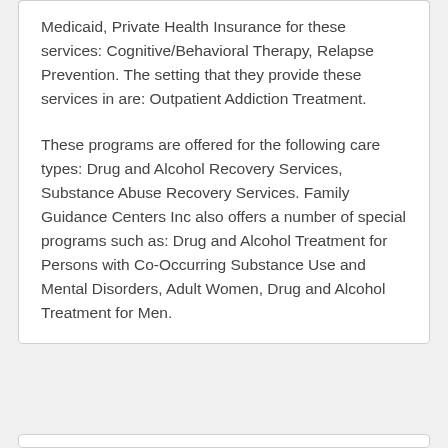Medicaid, Private Health Insurance for these services: Cognitive/Behavioral Therapy, Relapse Prevention. The setting that they provide these services in are: Outpatient Addiction Treatment.
These programs are offered for the following care types: Drug and Alcohol Recovery Services, Substance Abuse Recovery Services. Family Guidance Centers Inc also offers a number of special programs such as: Drug and Alcohol Treatment for Persons with Co-Occurring Substance Use and Mental Disorders, Adult Women, Drug and Alcohol Treatment for Men.